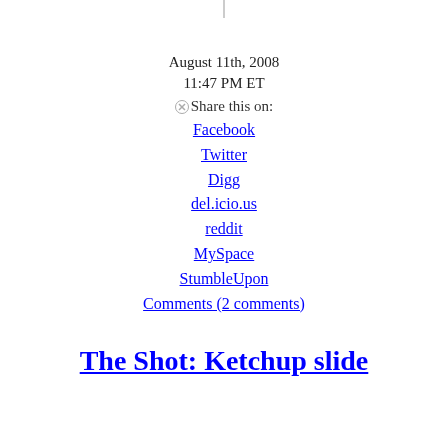August 11th, 2008
11:47 PM ET
Share this on:
Facebook
Twitter
Digg
del.icio.us
reddit
MySpace
StumbleUpon
Comments (2 comments)
The Shot: Ketchup slide